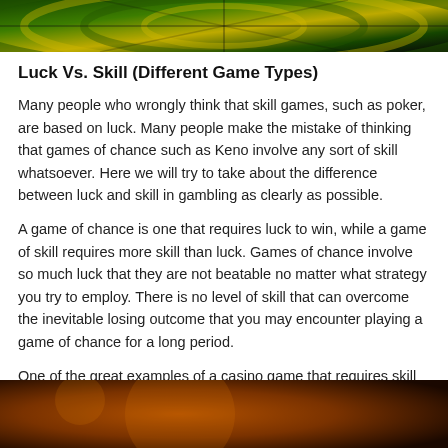[Figure (photo): Partial image of a dartboard or colorful casino-themed graphic in green, yellow, and black at the top of the page]
Luck Vs. Skill (Different Game Types)
Many people who wrongly think that skill games, such as poker, are based on luck. Many people make the mistake of thinking that games of chance such as Keno involve any sort of skill whatsoever. Here we will try to take about the difference between luck and skill in gambling as clearly as possible.
A game of chance is one that requires luck to win, while a game of skill requires more skill than luck. Games of chance involve so much luck that they are not beatable no matter what strategy you try to employ. There is no level of skill that can overcome the inevitable losing outcome that you may encounter playing a game of chance for a long period.
One of the great examples of a casino game that requires skill would be No-Limit Texas Hold'Em. The primary difference between this game and other casino games is that you are
[Figure (infographic): Casino.com advertisement banner at the bottom. Shows casino.com logo with orange G icon, and text '100% up to R4,000 +200 Free Spins' with a green 'Play Now' button.]